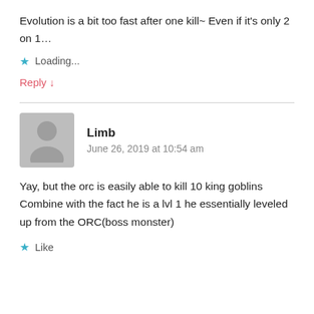Evolution is a bit too fast after one kill~ Even if it's only 2 on 1…
Loading...
Reply ↓
Limb
June 26, 2019 at 10:54 am
Yay, but the orc is easily able to kill 10 king goblins Combine with the fact he is a lvl 1 he essentially leveled up from the ORC(boss monster)
Like